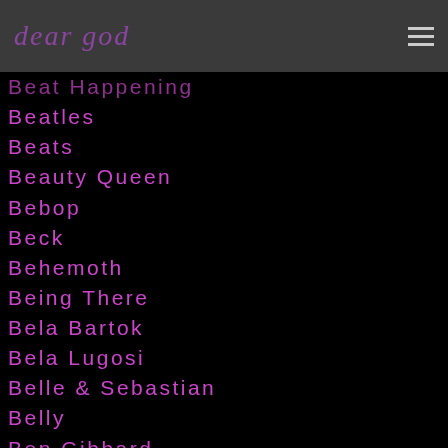dear god
Beat Happening
Beatles
Beats
Beauty Queen
Bebop
Beck
Behemoth
Being There
Bela Bartok
Bela Lugosi
Belle & Sebastian
Belly
Ben Gibbard
Benjamin Orr
Ben Stiller
Ben Thatcher
Bernard Edwards